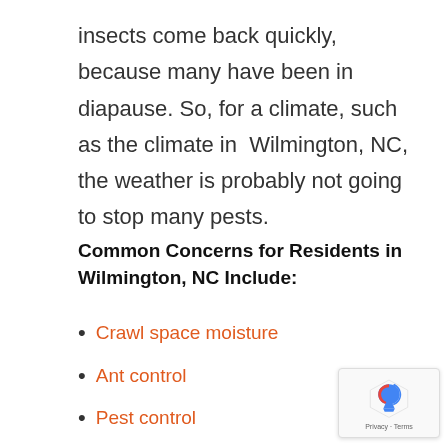insects come back quickly, because many have been in diapause. So, for a climate, such as the climate in Wilmington, NC, the weather is probably not going to stop many pests.
Common Concerns for Residents in Wilmington, NC Include:
Crawl space moisture
Ant control
Pest control
Termite control